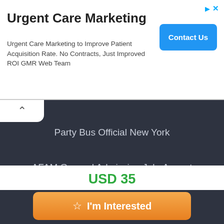[Figure (screenshot): Advertisement banner for Urgent Care Marketing with Contact Us button]
Urgent Care Marketing
Urgent Care Marketing to Improve Patient Acquisition Rate. No Contracts, Just Improved ROI GMR Web Team
Party Bus Official New York
AFAM General Admission July-August
The Wilson Fill-Up Drag Brunch!
The Wilson Fill-Up Drag Brunch!
AFAM General Admission July-August
Moon Manifestion
USD 35
I'm Interested